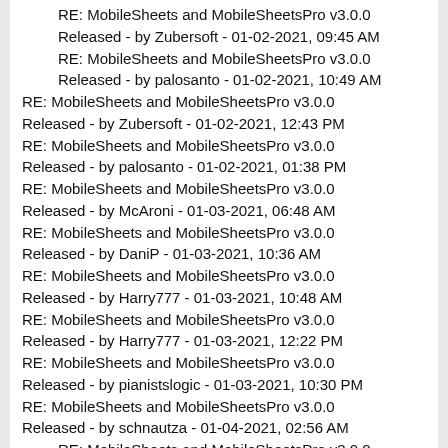RE: MobileSheets and MobileSheetsPro v3.0.0 Released - by Zubersoft - 01-02-2021, 09:45 AM
RE: MobileSheets and MobileSheetsPro v3.0.0 Released - by palosanto - 01-02-2021, 10:49 AM
RE: MobileSheets and MobileSheetsPro v3.0.0 Released - by Zubersoft - 01-02-2021, 12:43 PM
RE: MobileSheets and MobileSheetsPro v3.0.0 Released - by palosanto - 01-02-2021, 01:38 PM
RE: MobileSheets and MobileSheetsPro v3.0.0 Released - by McAroni - 01-03-2021, 06:48 AM
RE: MobileSheets and MobileSheetsPro v3.0.0 Released - by DaniP - 01-03-2021, 10:36 AM
RE: MobileSheets and MobileSheetsPro v3.0.0 Released - by Harry777 - 01-03-2021, 10:48 AM
RE: MobileSheets and MobileSheetsPro v3.0.0 Released - by Harry777 - 01-03-2021, 12:22 PM
RE: MobileSheets and MobileSheetsPro v3.0.0 Released - by pianistslogic - 01-03-2021, 10:30 PM
RE: MobileSheets and MobileSheetsPro v3.0.0 Released - by schnautza - 01-04-2021, 02:56 AM
RE: MobileSheets and MobileSheetsPro v3.0.0 Released - by DaniP - 01-04-2021, 05:17 AM
RE: MobileSheets and MobileSheetsPro v3.0.0 Released - by eichelbe - 01-04-2021, 03:05 AM